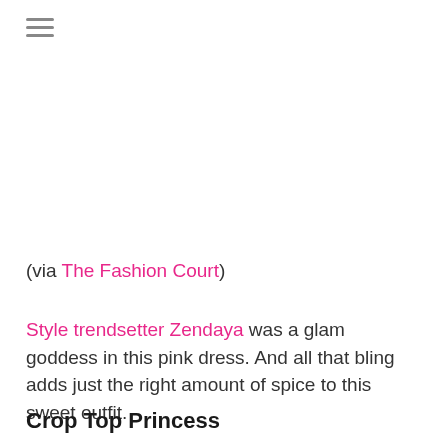≡
(via The Fashion Court)
Style trendsetter Zendaya was a glam goddess in this pink dress. And all that bling adds just the right amount of spice to this sweet outfit.
Crop Top Princess